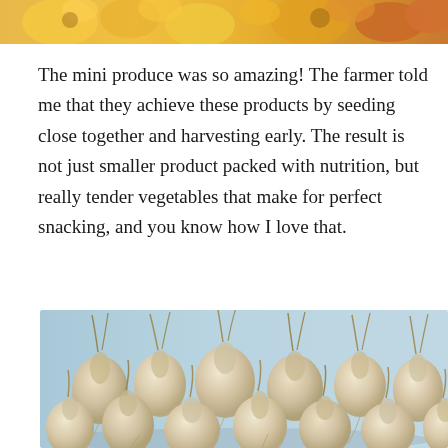[Figure (photo): Top portion of a colorful photo showing yellow and orange flowers or produce]
The mini produce was so amazing! The farmer told me that they achieve these products by seeding close together and harvesting early. The result is not just smaller product packed with nutrition, but really tender vegetables that make for perfect snacking, and you know how I love that.
[Figure (photo): Close-up photo of small white/cream colored onion bulbs with dried roots and stems, arranged in a pile against a light blue background]